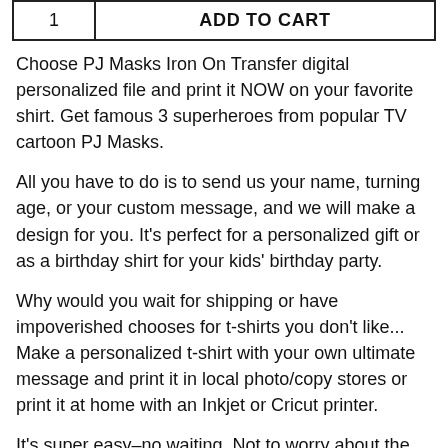| 1 | ADD TO CART |
Choose PJ Masks Iron On Transfer digital personalized file and print it NOW on your favorite shirt. Get famous 3 superheroes from popular TV cartoon PJ Masks.
All you have to do is to send us your name, turning age, or your custom message, and we will make a design for you. It's perfect for a personalized gift or as a birthday shirt for your kids' birthday party.
Why would you wait for shipping or have impoverished chooses for t-shirts you don't like... Make a personalized t-shirt with your own ultimate message and print it in local photo/copy stores or print it at home with an Inkjet or Cricut printer.
It's super easy–no waiting, Not to worry about the quality or print of your t-shirt. You choose your design,